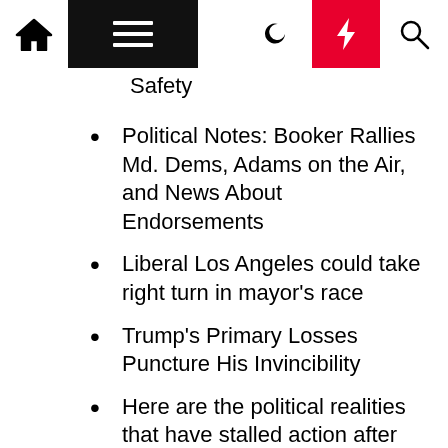[Navigation bar with home, menu, moon, lightning, search icons]
Safety
Political Notes: Booker Rallies Md. Dems, Adams on the Air, and News About Endorsements
Liberal Los Angeles could take right turn in mayor's race
Trump's Primary Losses Puncture His Invincibility
Here are the political realities that have stalled action after school shootings : NPR
Beto O'Rourke's outburst divides political opinion, impact on campaign remains unclear
Opinion | The public is finally realizing how political the Supreme Court is